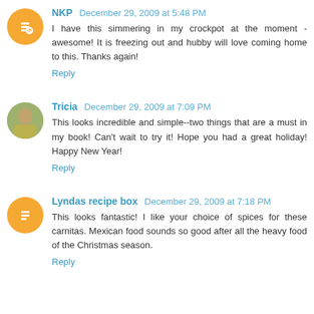NKP December 29, 2009 at 5:48 PM
I have this simmering in my crockpot at the moment - awesome! It is freezing out and hubby will love coming home to this. Thanks again!
Reply
Tricia December 29, 2009 at 7:09 PM
This looks incredible and simple--two things that are a must in my book! Can't wait to try it! Hope you had a great holiday! Happy New Year!
Reply
Lyndas recipe box December 29, 2009 at 7:18 PM
This looks fantastic! I like your choice of spices for these carnitas. Mexican food sounds so good after all the heavy food of the Christmas season.
Reply